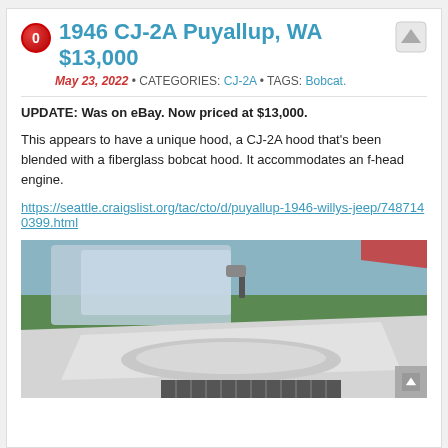1946 CJ-2A Puyallup, WA $13,000
May 23, 2022 • CATEGORIES: CJ-2A • TAGS: Bobcat.
UPDATE: Was on eBay. Now priced at $13,000.
This appears to have a unique hood, a CJ-2A hood that's been blended with a fiberglass bobcat hood. It accommodates an f-head engine.
https://seattle.craigslist.org/tac/cto/d/puyallup-1946-willys-jeep/7487140399.html
[Figure (photo): Close-up photo of a white 1946 CJ-2A Willys Jeep showing the modified fiberglass bobcat hood, windshield, and front grille area, parked on green grass.]